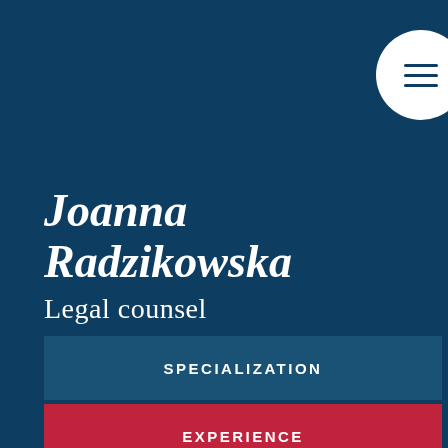[Figure (other): White circular menu button with three horizontal dark blue lines (hamburger menu icon) in the top right corner]
Joanna Radzikowska
Legal counsel
SPECIALIZATION
EXPERIENCE
EDUCATION